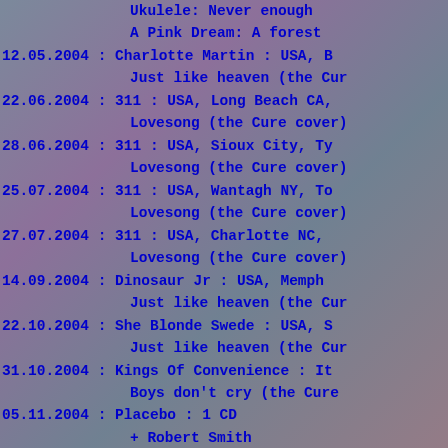Ukulele: Never enough
A Pink Dream: A forest
12.05.2004 : Charlotte Martin : USA, B... / Just like heaven (the Cure cover)
22.06.2004 : 311 : USA, Long Beach CA, ... / Lovesong (the Cure cover)
28.06.2004 : 311 : USA, Sioux City, Ty... / Lovesong (the Cure cover)
25.07.2004 : 311 : USA, Wantagh NY, To... / Lovesong (the Cure cover)
27.07.2004 : 311 : USA, Charlotte NC, ... / Lovesong (the Cure cover)
14.09.2004 : Dinosaur Jr : USA, Memphis... / Just like heaven (the Cure cover)
22.10.2004 : She Blonde Swede : USA, S... / Just like heaven (the Cure cover)
31.10.2004 : Kings Of Convenience : It... / Boys don't cry (the Cure cover)
05.11.2004 : Placebo : 1 CD + Robert Smith / If only tonight we could...